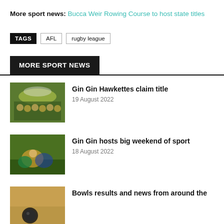More sport news: Bucca Weir Rowing Course to host state titles
TAGS  AFL  rugby league
MORE SPORT NEWS
[Figure (photo): Team photo of Gin Gin Hawkettes under an umbrella]
Gin Gin Hawkettes claim title
19 August 2022
[Figure (photo): Rugby league tackle action photo]
Gin Gin hosts big weekend of sport
18 August 2022
[Figure (photo): Bowls ball on green]
Bowls results and news from around the